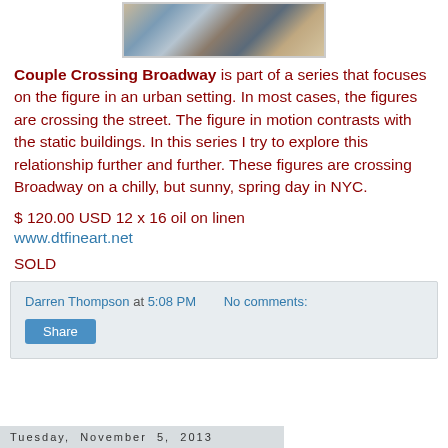[Figure (photo): Painting of figures crossing Broadway in an urban setting, impressionistic style with blues, browns, and creams]
Couple Crossing Broadway is part of a series that focuses on the figure in an urban setting. In most cases, the figures are crossing the street. The figure in motion contrasts with the static buildings. In this series I try to explore this relationship further and further. These figures are crossing Broadway on a chilly, but sunny, spring day in NYC.
$ 120.00 USD 12 x 16 oil on linen
www.dtfineart.net
SOLD
Darren Thompson at 5:08 PM   No comments:
Share
Tuesday, November 5, 2013